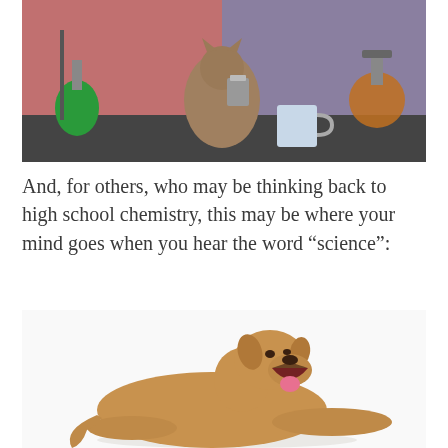[Figure (photo): A cat or small animal in a laboratory setting, surrounded by chemistry equipment including flasks with green liquid, a coffee mug, and a round-bottom flask with amber liquid on a stand. The background has red and blue paneling.]
And, for others, who may be thinking back to high school chemistry, this may be where your mind goes when you hear the word “science”:
[Figure (photo): A large tan/brown mixed-breed dog lying down on a white background, yawning widely with its mouth open and pink tongue visible, looking bored or tired.]